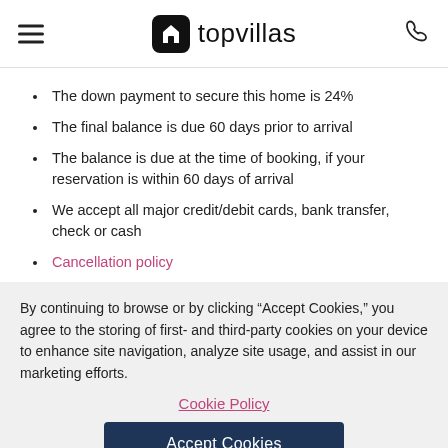topvillas
The down payment to secure this home is 24%
The final balance is due 60 days prior to arrival
The balance is due at the time of booking, if your reservation is within 60 days of arrival
We accept all major credit/debit cards, bank transfer, check or cash
Cancellation policy
By continuing to browse or by clicking “Accept Cookies,” you agree to the storing of first- and third-party cookies on your device to enhance site navigation, analyze site usage, and assist in our marketing efforts.
Cookie Policy
Accept Cookies